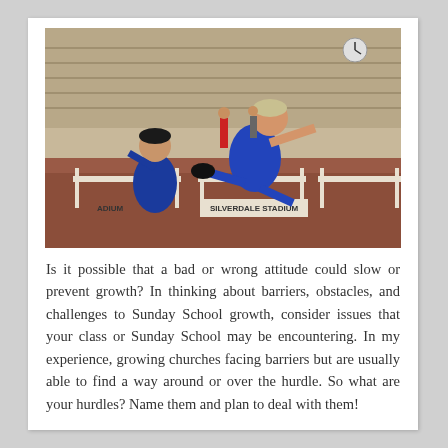[Figure (photo): Athlete in blue uniform leaping over a hurdle at Silverdale Stadium, with another athlete in blue visible behind him. Track and field hurdle race scene.]
Is it possible that a bad or wrong attitude could slow or prevent growth? In thinking about barriers, obstacles, and challenges to Sunday School growth, consider issues that your class or Sunday School may be encountering. In my experience, growing churches facing barriers but are usually able to find a way around or over the hurdle. So what are your hurdles? Name them and plan to deal with them!